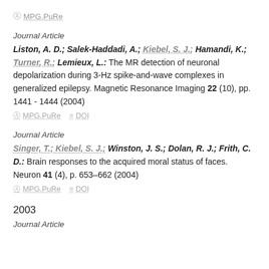MPG.PuRe
Journal Article
Liston, A. D.; Salek-Haddadi, A.; Kiebel, S. J.; Hamandi, K.; Turner, R.; Lemieux, L.: The MR detection of neuronal depolarization during 3-Hz spike-and-wave complexes in generalized epilepsy. Magnetic Resonance Imaging 22 (10), pp. 1441 - 1444 (2004)
MPG.PuRe   DOI
Journal Article
Singer, T.; Kiebel, S. J.; Winston, J. S.; Dolan, R. J.; Frith, C. D.: Brain responses to the acquired moral status of faces. Neuron 41 (4), p. 653–662 (2004)
MPG.PuRe   DOI
2003
Journal Article